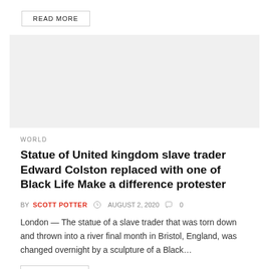READ MORE
[Figure (photo): Gray placeholder image for article]
WORLD
Statue of United kingdom slave trader Edward Colston replaced with one of Black Life Make a difference protester
BY SCOTT POTTER  AUGUST 2, 2020  0
London — The statue of a slave trader that was torn down and thrown into a river final month in Bristol, England, was changed overnight by a sculpture of a Black...
READ MORE